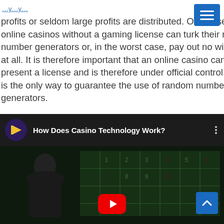profits or seldom large profits are distributed. Of course, online casinos without a gaming license can turk their random number generators or, in the worst case, pay out no winnings at all. It is therefore important that an online casino can present a license and is therefore under official control, as this is the only way to guarantee the use of random number generators.
[Figure (screenshot): Embedded YouTube video thumbnail titled 'How Does Casino Technology Work?' showing a man in front of a casino roulette/craps table background. The video header shows a channel logo (gold arrow icon on purple background) and three vertical dots menu. A YouTube play button is visible at the bottom center and a blue scroll-to-top arrow button at bottom right.]